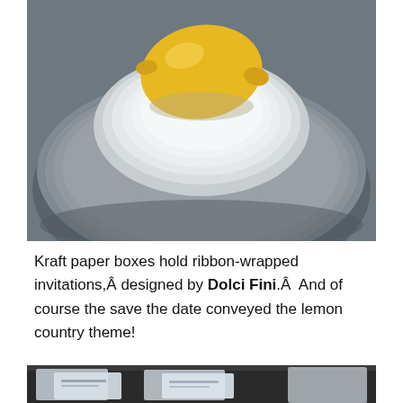[Figure (photo): Overhead photo of a lemon sitting in a white ribbed bowl on a gray ribbed plate, with grey background.]
Kraft paper boxes hold ribbon-wrapped invitations,Â designed by Dolci Fini.Â  And of course the save the date conveyed the lemon country theme!
[Figure (photo): Partial photo showing what appears to be stationery/invitation cards with text, partially cropped at bottom of page.]